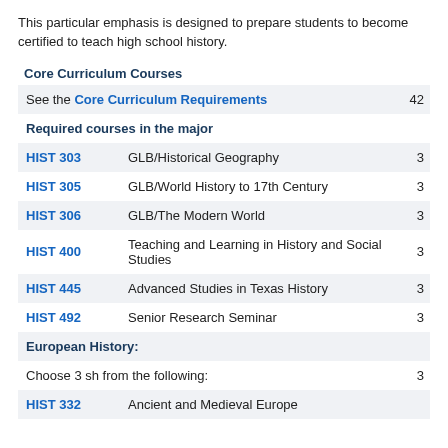This particular emphasis is designed to prepare students to become certified to teach high school history.
Core Curriculum Courses
| Course | Description | Credits |
| --- | --- | --- |
| See the Core Curriculum Requirements |  | 42 |
| Required courses in the major |  |  |
| HIST 303 | GLB/Historical Geography | 3 |
| HIST 305 | GLB/World History to 17th Century | 3 |
| HIST 306 | GLB/The Modern World | 3 |
| HIST 400 | Teaching and Learning in History and Social Studies | 3 |
| HIST 445 | Advanced Studies in Texas History | 3 |
| HIST 492 | Senior Research Seminar | 3 |
| European History: |  |  |
| Choose 3 sh from the following: |  | 3 |
| HIST 332 | Ancient and Medieval Europe |  |